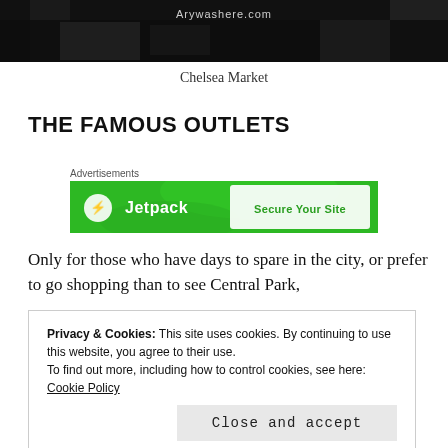[Figure (photo): Dark photograph with text 'Arywashere.com' visible at the top center, appears to be a street or market scene in black and white]
Chelsea Market
THE FAMOUS OUTLETS
Advertisements
[Figure (other): Jetpack advertisement banner with green background showing 'Jetpack' logo and 'Secure Your Site' text]
Only for those who have days to spare in the city, or prefer to go shopping than to see Central Park,
Privacy & Cookies: This site uses cookies. By continuing to use this website, you agree to their use. To find out more, including how to control cookies, see here: Cookie Policy
Close and accept